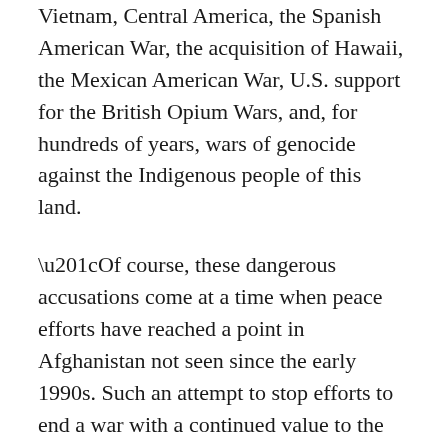continued war. This is true of U.S. wars in Vietnam, Central America, the Spanish American War, the acquisition of Hawaii, the Mexican American War, U.S. support for the British Opium Wars, and, for hundreds of years, wars of genocide against the Indigenous people of this land.
“Of course, these dangerous accusations come at a time when peace efforts have reached a point in Afghanistan not seen since the early 1990s. Such an attempt to stop efforts to end a war with a continued value to the U.S. military industry, and elements within the Pentagon and intelligence agencies, should be expected.”
Hoh, a senior fellow with the Center for